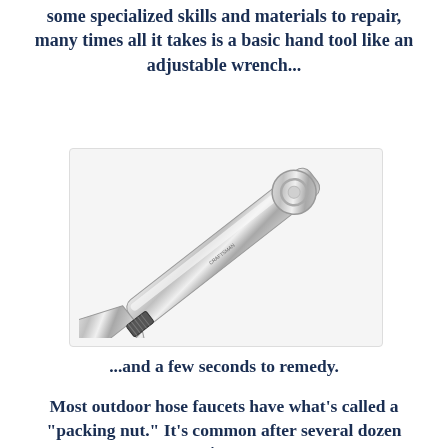some specialized skills and materials to repair, many times all it takes is a basic hand tool like an adjustable wrench...
[Figure (photo): A chrome adjustable wrench (crescent wrench) shown diagonally on a light gray background, with the jaw end at lower left and the circular handle end at upper right.]
...and a few seconds to remedy.
Most outdoor hose faucets have what's called a "packing nut." It's common after several dozen times